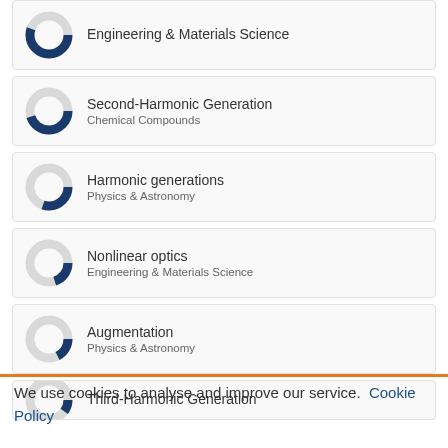[Figure (donut-chart): Donut chart ~80% filled dark blue, for Engineering & Materials Science (partial top)]
[Figure (donut-chart): Donut chart ~70% filled dark blue, for Second-Harmonic Generation / Chemical Compounds]
[Figure (donut-chart): Donut chart ~55% filled dark blue, for Harmonic generations / Physics & Astronomy]
[Figure (donut-chart): Donut chart ~45% filled dark blue, for Nonlinear optics / Engineering & Materials Science]
[Figure (donut-chart): Donut chart ~45% filled dark blue, for Augmentation / Physics & Astronomy]
[Figure (donut-chart): Partial donut chart for Third-Harmonic Generation (cut off)]
We use cookies to analyse and improve our service. Cookie Policy